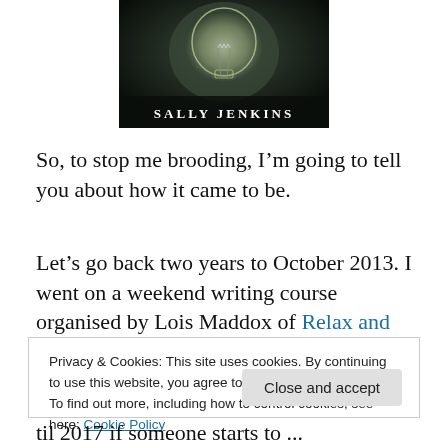[Figure (photo): Book cover showing a lightbulb against a dark background with the author name 'SALLY JENKINS' in white serif text at the bottom]
So, to stop me brooding, I’m going to tell you about how it came to be.
Let’s go back two years to October 2013. I went on a weekend writing course organised by Lois Maddox of Relax and Write. The title of the course was ‘How to Write
Privacy & Cookies: This site uses cookies. By continuing to use this website, you agree to their use.
To find out more, including how to control cookies, see here: Cookie Policy
Close and accept
til 2017 if someone starts to ...